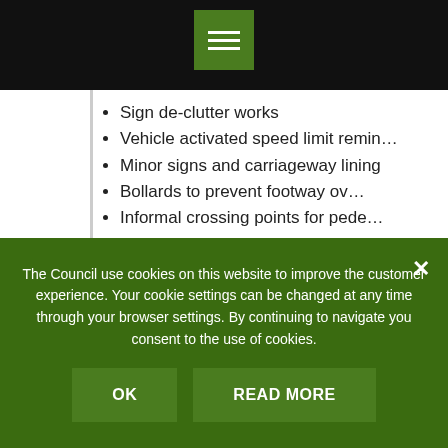Sign de-clutter works
Vehicle activated speed limit reminders
Minor signs and carriageway lining
Bollards to prevent footway overhang
Informal crossing points for pedestrians
All proposals from local councils and community groups will be subject to a technical assessment in order that any new measures are consistent with standards applied by Hampshire County Council across Hampshire.
Local councils are asked to contact their local county councillor to discuss and progress proposals.
The Council use cookies on this website to improve the customer experience. Your cookie settings can be changed at any time through your browser settings. By continuing to navigate you consent to the use of cookies.